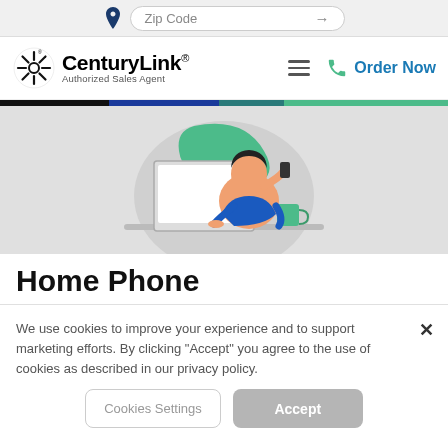[Figure (screenshot): Top navigation bar with location pin icon, Zip Code input field with arrow, CenturyLink Authorized Sales Agent logo, hamburger menu, and Order Now button with green phone icon]
[Figure (illustration): Illustrated person in blue shirt sitting at a desk with a computer monitor, talking on a phone, with a green speech bubble and teal coffee mug]
Home Phone
We use cookies to improve your experience and to support marketing efforts. By clicking "Accept" you agree to the use of cookies as described in our privacy policy.
Cookies Settings
Accept